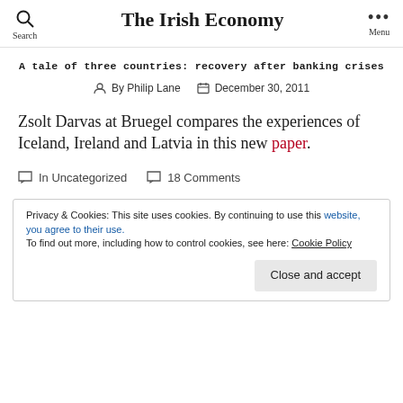The Irish Economy
A tale of three countries: recovery after banking crises
By Philip Lane  December 30, 2011
Zsolt Darvas at Bruegel compares the experiences of Iceland, Ireland and Latvia in this new paper.
In Uncategorized  18 Comments
Privacy & Cookies: This site uses cookies. By continuing to use this website, you agree to their use. To find out more, including how to control cookies, see here: Cookie Policy
Close and accept